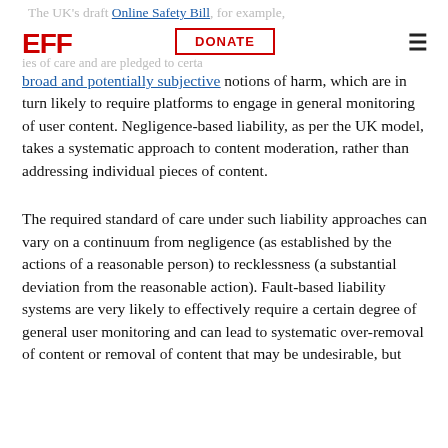EFF | DONATE
broad and potentially subjective notions of harm, which are in turn likely to require platforms to engage in general monitoring of user content. Negligence-based liability, as per the UK model, takes a systematic approach to content moderation, rather than addressing individual pieces of content.
The required standard of care under such liability approaches can vary on a continuum from negligence (as established by the actions of a reasonable person) to recklessness (a substantial deviation from the reasonable action). Fault-based liability systems are very likely to effectively require a certain degree of general user monitoring and can lead to systematic over-removal of content or removal of content that may be undesirable, but